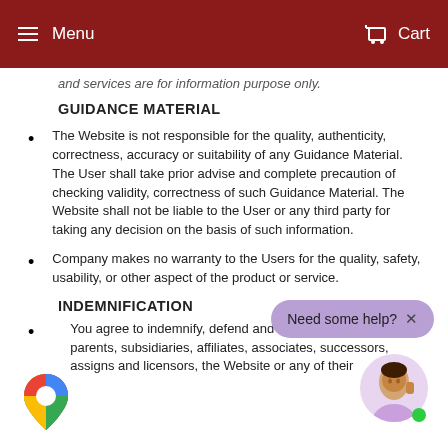Menu   Cart
and services are for information purpose only.
GUIDANCE MATERIAL
The Website is not responsible for the quality, authenticity, correctness, accuracy or suitability of any Guidance Material. The User shall take prior advise and complete precaution of checking validity, correctness of such Guidance Material. The Website shall not be liable to the User or any third party for taking any decision on the basis of such information.
Company makes no warranty to the Users for the quality, safety, usability, or other aspect of the product or service.
INDEMNIFICATION
You agree to indemnify, defend and hold Company, its parents, subsidiaries, affiliates, associates, successors, assigns and licensors, the Website or any of their